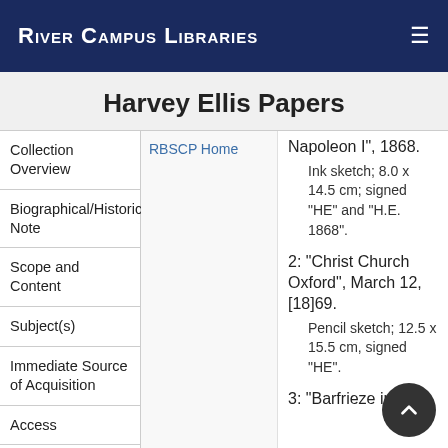River Campus Libraries
Harvey Ellis Papers
Collection Overview
Biographical/Historical Note
Scope and Content
Subject(s)
Immediate Source of Acquisition
Access
Use
RBSCP Home
Napoleon I", 1868.

Ink sketch; 8.0 x 14.5 cm; signed "HE" and "H.E. 1868".
2: "Christ Church Oxford", March 12, [18]69.

Pencil sketch; 12.5 x 15.5 cm, signed "HE".
3: "Barfrieze in